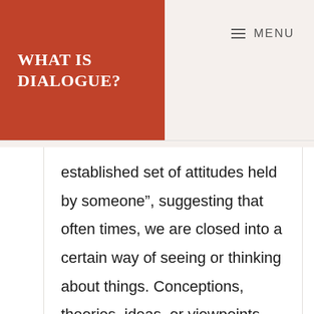WHAT IS DIALOGUE?
MENU
established set of attitudes held by someone”, suggesting that often times, we are closed into a certain way of seeing or thinking about things. Conceptions, theories, ideas, or viewpoints are right in front of our eyes — but not perceived in the brain because our mindsets are set. But I think that’s a rather daunting